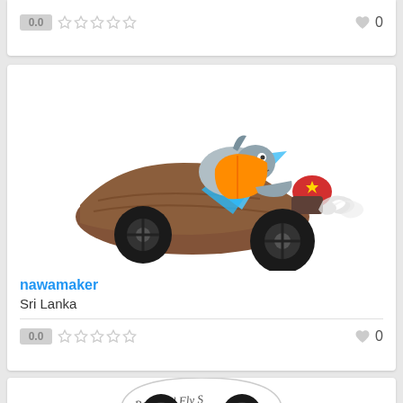[Figure (screenshot): Top card snippet showing rating 0.0, 5 empty stars, and heart icon with 0]
[Figure (illustration): Cartoon fish character wearing orange jacket riding in a brown wooden speedboat on large black wheels with smoke/exhaust effect]
nawamaker
Sri Lanka
[Figure (screenshot): Rating row showing 0.0, 5 empty stars, heart icon and 0]
[Figure (illustration): Partial circular logo at bottom with text 'Portland Fly S...' in script font]